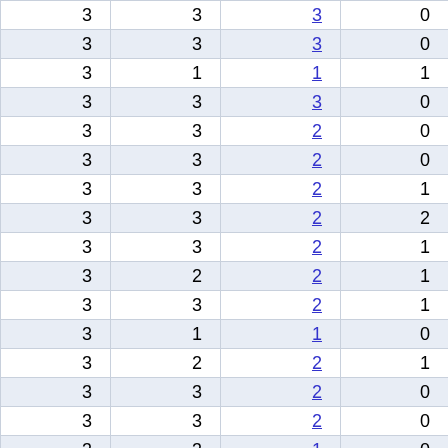| 3 | 3 | 3 | 0 |
| 3 | 3 | 3 | 0 |
| 3 | 1 | 1 | 1 |
| 3 | 3 | 3 | 0 |
| 3 | 3 | 2 | 0 |
| 3 | 3 | 2 | 0 |
| 3 | 3 | 2 | 1 |
| 3 | 3 | 2 | 2 |
| 3 | 3 | 2 | 1 |
| 3 | 2 | 2 | 1 |
| 3 | 3 | 2 | 1 |
| 3 | 1 | 1 | 0 |
| 3 | 2 | 2 | 1 |
| 3 | 3 | 2 | 0 |
| 3 | 3 | 2 | 0 |
| 3 | 3 | 1 | 0 |